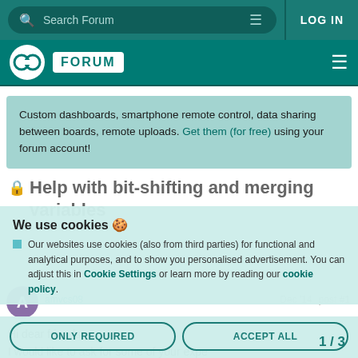Search Forum | LOG IN
[Figure (logo): Arduino Forum logo with infinity symbol and FORUM badge]
Custom dashboards, smartphone remote control, data sharing between boards, remote uploads. Get them (for free) using your forum account!
Help with bit-shifting and merging variables
We use cookies
Our websites use cookies (also from third parties) for functional and analytical purposes, and to show you personalised advertisement. You can adjust this in Cookie Settings or learn more by reading our cookie policy.
amvcs08   Dec '14   post #1
Hi dear friends,
I would like to ask for some of your expe the most effective solution for a problem
ONLY REQUIRED   ACCEPT ALL   1 / 3